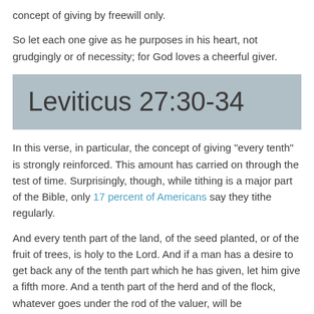concept of giving by freewill only.
So let each one give as he purposes in his heart, not grudgingly or of necessity; for God loves a cheerful giver.
Leviticus 27:30-34
In this verse, in particular, the concept of giving “every tenth” is strongly reinforced. This amount has carried on through the test of time. Surprisingly, though, while tithing is a major part of the Bible, only 17 percent of Americans say they tithe regularly.
And every tenth part of the land, of the seed planted, or of the fruit of trees, is holy to the Lord. And if a man has a desire to get back any of the tenth part which he has given, let him give a fifth more. And a tenth part of the herd and of the flock, whatever goes under the rod of the valuer, will be